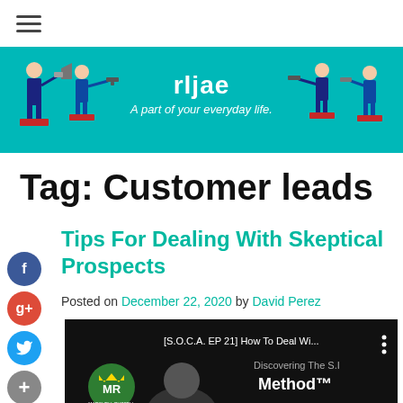[Figure (screenshot): Navigation hamburger menu icon (three horizontal lines)]
[Figure (illustration): Website banner with teal/cyan background showing illustrated businesspeople with megaphones and pointing, with site name 'rljae' and tagline 'A part of your everyday life.']
Tag: Customer leads
Tips For Dealing With Skeptical Prospects
Posted on December 22, 2020 by David Perez
[Figure (screenshot): Video thumbnail showing a YouTube-style video: '[S.O.C.A. EP 21] How To Deal Wi...' with text 'Discovering The S... Method™' and a man presenting, with green MR logo in bottom left corner]